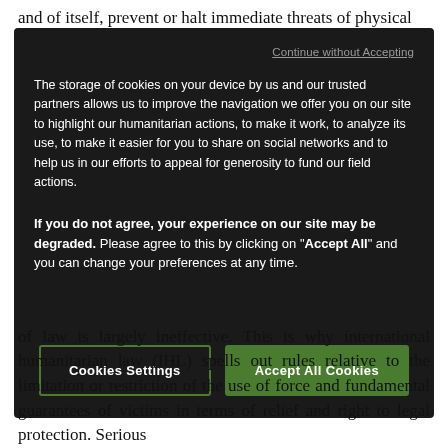and of itself, prevent or halt immediate threats of physical
Continue without Accepting
The storage of cookies on your device by us and our trusted partners allows us to improve the navigation we offer you on our site to highlight our humanitarian actions, to make it work, to analyze its use, to make it easier for you to share on social networks and to help us in our efforts to appeal for generosity to fund our field actions.
If you do not agree, your experience on our site may be degraded. Please agree to this by clicking on "Accept All" and you can change your preferences at any time.
Cookies Settings
Accept All Cookies
of law is largely ineffective. This is why international humanitarian law (IHL) spells out rules relative to the limitation or restriction of the use of force and fundamental guarantees of victims in terms of relief and right to legal protection. Serious